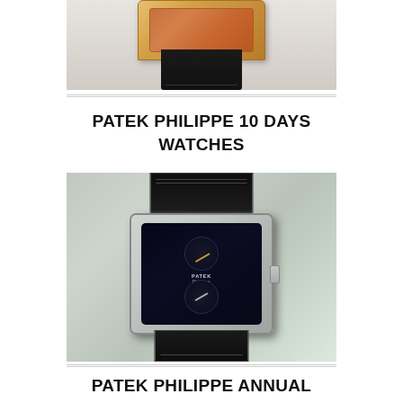[Figure (photo): Top portion of a Patek Philippe watch with rose gold case and dark crocodile leather strap, shown from above on a white background]
PATEK PHILIPPE 10 DAYS WATCHES
[Figure (photo): Patek Philippe 10 Days Tiffany watch with rectangular steel case, black dial featuring two sub-dials, gold hands, and black crocodile leather strap, photographed at an angle on a light gray gradient background]
PATEK PHILIPPE ANNUAL